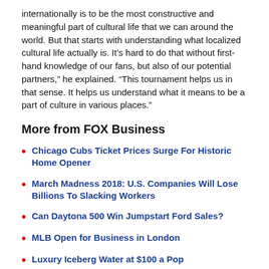internationally is to be the most constructive and meaningful part of cultural life that we can around the world. But that starts with understanding what localized cultural life actually is. It’s hard to do that without first-hand knowledge of our fans, but also of our potential partners,” he explained. “This tournament helps us in that sense. It helps us understand what it means to be a part of culture in various places.”
More from FOX Business
Chicago Cubs Ticket Prices Surge For Historic Home Opener
March Madness 2018: U.S. Companies Will Lose Billions To Slacking Workers
Can Daytona 500 Win Jumpstart Ford Sales?
MLB Open for Business in London
Luxury Iceberg Water at $100 a Pop